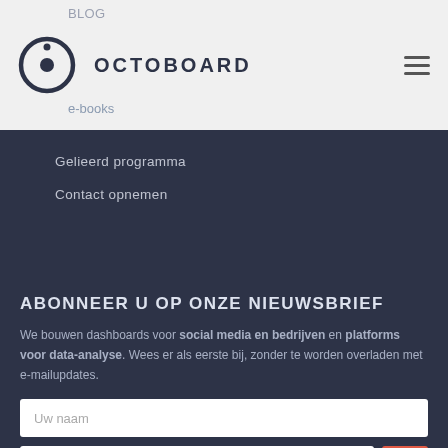OCTOBOARD
Gelieerd programma
Contact opnemen
ABONNEER U OP ONZE NIEUWSBRIEF
We bouwen dashboards voor social media en bedrijven en platforms voor data-analyse. Wees er als eerste bij, zonder te worden overladen met e-mailupdates.